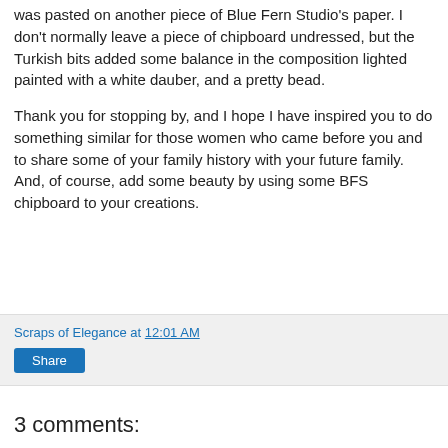was pasted on another piece of Blue Fern Studio's paper.  I don't normally leave a piece of chipboard undressed, but the Turkish bits added some balance in the composition lighted painted with a white dauber, and a pretty bead.
Thank you for stopping by, and I hope I have inspired you to do something similar for those women who came before you and to share some of your family history with your future family.  And, of course, add some beauty by using some BFS chipboard to your creations.
Scraps of Elegance at 12:01 AM
Share
3 comments: